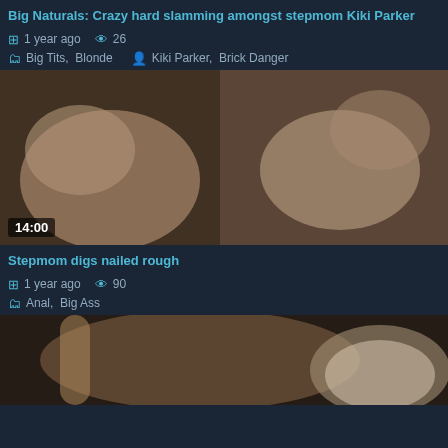Big Naturals: Crazy hard slamming amongst stepmom Kiki Parker
1 year ago  26
Big Tits, Blonde  Kiki Parker, Brick Danger
[Figure (photo): Video thumbnail showing adult content, duration badge 14:00]
Stepmom digs nailed rough
1 year ago  90
Anal, Big Ass
[Figure (photo): Partial video thumbnail showing adult content]